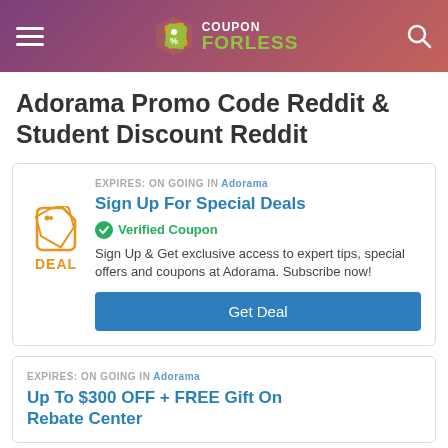CouponForLess
Adorama Promo Code Reddit & Student Discount Reddit
EXPIRES: ON GOING in Adorama
Sign Up For Special Deals
Verified Coupon
Sign Up & Get exclusive access to expert tips, special offers and coupons at Adorama. Subscribe now!
Get Deal
EXPIRES: ON GOING in Adorama
Up To $300 OFF + FREE Gift On Rebate Center